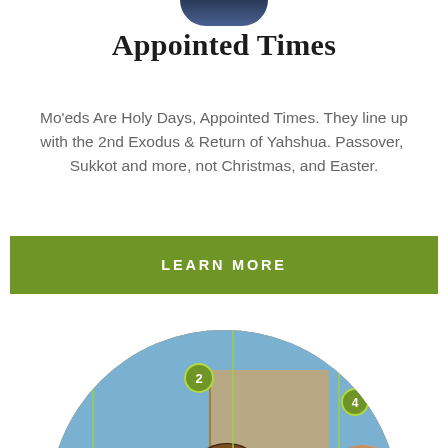[Figure (photo): Partial top of a person's head/photo cropped at top of page]
Appointed Times
Mo'eds Are Holy Days, Appointed Times. They line up with the 2nd Exodus & Return of Yahshua. Passover,  Sukkot and more, not Christmas, and Easter.
[Figure (other): Green rectangular button with white uppercase text LEARN MORE]
[Figure (photo): Circular cropped image of a painting showing multiple figures (persons numbered 1, 2, 4 visible) with green vertical overlay lines and numbered green circle badges]